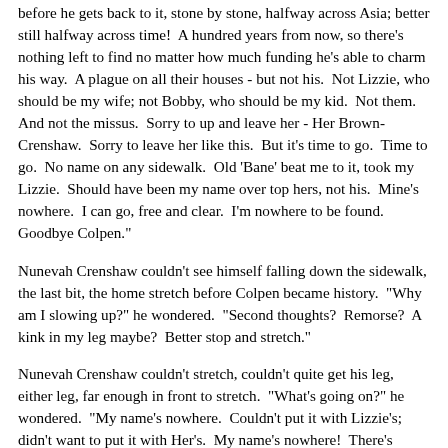before he gets back to it, stone by stone, halfway across Asia; better still halfway across time!  A hundred years from now, so there's nothing left to find no matter how much funding he's able to charm his way.  A plague on all their houses - but not his.  Not Lizzie, who should be my wife; not Bobby, who should be my kid.  Not them.  And not the missus.  Sorry to up and leave her - Her Brown-Crenshaw.  Sorry to leave her like this.  But it's time to go.  Time to go.  No name on any sidewalk.  Old 'Bane' beat me to it, took my Lizzie.  Should have been my name over top hers, not his.  Mine's nowhere.  I can go, free and clear.  I'm nowhere to be found.  Goodbye Colpen."
Nunevah Crenshaw couldn't see himself falling down the sidewalk, the last bit, the home stretch before Colpen became history.  "Why am I slowing up?" he wondered.  "Second thoughts?  Remorse?  A kink in my leg maybe?  Better stop and stretch."
Nunevah Crenshaw couldn't stretch, couldn't quite get his leg, either leg, far enough in front to stretch.  "What's going on?" he wondered.  "My name's nowhere.  Couldn't put it with Lizzie's; didn't want to put it with Her's.  My name's nowhere!  There's nothing holding me, nothing held me, nothing to hold me!  Nothing!"
Nunevah Crenshaw kept sinking.  Sinking slow.  His ankles.  His knees.  His hips.  His chest.  His neck.  Tip of his head.  One final